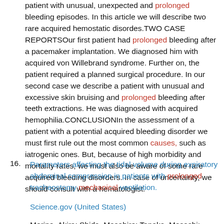patient with unusual, unexpected and prolonged bleeding episodes. In this article we will describe two rare acquired hemostatic disordes.TWO CASE REPORTSOur first patient had prolonged bleeding after a pacemaker implantation. We diagnosed him with acquired von Willebrand syndrome. Further on, the patient required a planned surgical procedure. In our second case we describe a patient with unusual and excessive skin bruising and prolonged bleeding after teeth extractions. He was diagnosed with acquired hemophilia.CONCLUSIONIn the assessment of a patient with a potential acquired bleeding disorder we must first rule out the most common causes, such as iatrogenic ones. But, because of high morbidity and mortality rates, we must also be aware of some rare acquired bleeding disorders. In case of uncertainty, we should consult with a hematologist.
16. Parameters affecting the tidal volume during expiratory abdominal compression in patients with prolonged tracheostomy mechanical ventilation.
Science.gov (United States)
Morino, Akira; Shida, Masahiro; Tanaka, Masashi; Sato, ...